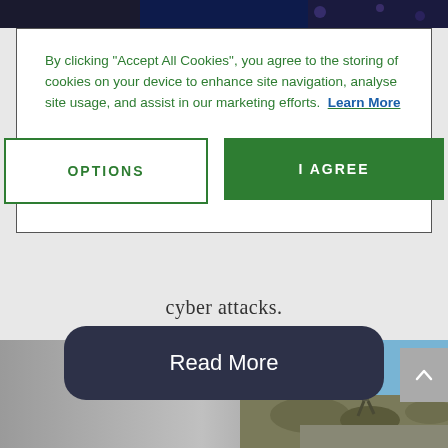[Figure (screenshot): Top portion of a webpage showing a dark/space themed banner image cropped at the top]
By clicking “Accept All Cookies”, you agree to the storing of cookies on your device to enhance site navigation, analyse site usage, and assist in our marketing efforts.  Learn More
OPTIONS
I AGREE
cyber attacks.
Read More
[Figure (photo): Photo of a soldier running on a road in a rocky/hilly landscape with blue sky]